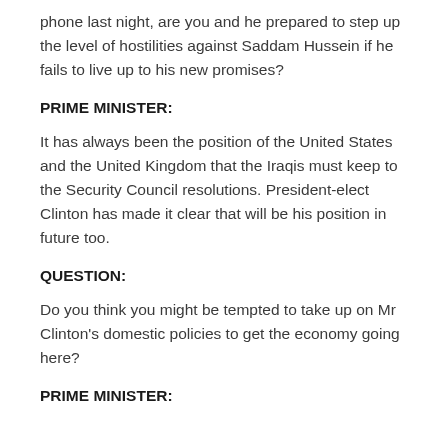phone last night, are you and he prepared to step up the level of hostilities against Saddam Hussein if he fails to live up to his new promises?
PRIME MINISTER:
It has always been the position of the United States and the United Kingdom that the Iraqis must keep to the Security Council resolutions. President-elect Clinton has made it clear that will be his position in future too.
QUESTION:
Do you think you might be tempted to take up on Mr Clinton's domestic policies to get the economy going here?
PRIME MINISTER: